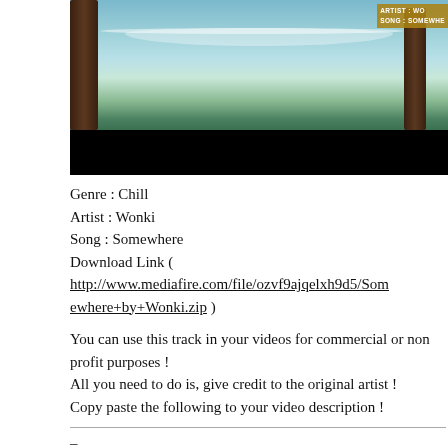[Figure (photo): Beach photo with hammock strung between palm trees, ocean in background, black letterbox bar at bottom. Overlay text in top right reads ARTIST: WO / SONG: SOMEWHE]
Genre : Chill
Artist : Wonki
Song : Somewhere
Download Link ( http://www.mediafire.com/file/ozvf9ajqelxh9d5/Somewhere+by+Wonki.zip )
You can use this track in your videos for commercial or non profit purposes !
All you need to do is, give credit to the original artist !
Copy paste the following to your video description !
–